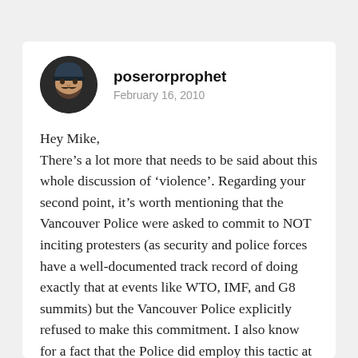poserorprophet
February 16, 2010
Hey Mike,
There’s a lot more that needs to be said about this whole discussion of ‘violence’. Regarding your second point, it’s worth mentioning that the Vancouver Police were asked to commit to NOT inciting protesters (as security and police forces have a well-documented track record of doing exactly that at events like WTO, IMF, and G8 summits) but the Vancouver Police explicitly refused to make this commitment. I also know for a fact that the Police did employ this tactic at the protest in Vancouver on the weekend — assaulting protesters and inciting them to strike back, which then allowed the Police to engage in further acts of violence and so on. I would be willing to bet that any